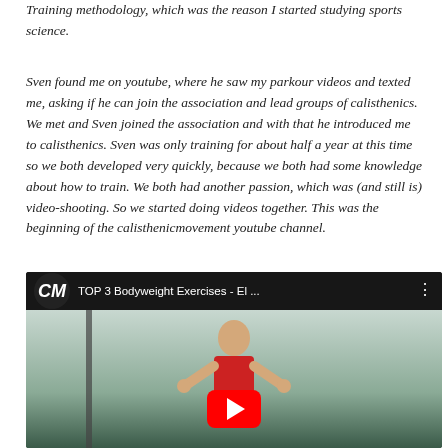Training methodology, which was the reason I started studying sports science.
Sven found me on youtube, where he saw my parkour videos and texted me, asking if he can join the association and lead groups of calisthenics. We met and Sven joined the association and with that he introduced me to calisthenics. Sven was only training for about half a year at this time so we both developed very quickly, because we both had some knowledge about how to train. We both had another passion, which was (and still is) video-shooting. So we started doing videos together. This was the beginning of the calisthenicmovement youtube channel.
[Figure (screenshot): YouTube video thumbnail showing 'TOP 3 Bodyweight Exercises - El...' with the Calisthenics Movement (CM) logo on the left, a man in a red tank top, and a red YouTube play button.]